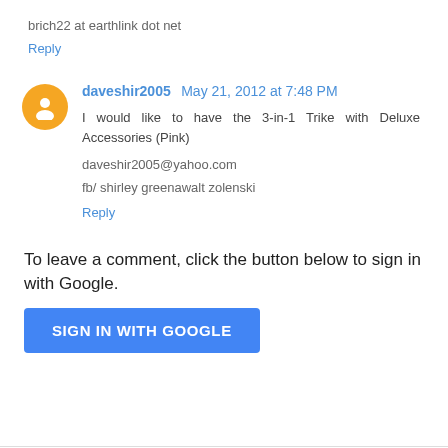brich22 at earthlink dot net
Reply
daveshir2005  May 21, 2012 at 7:48 PM
I would like to have the 3-in-1 Trike with Deluxe Accessories (Pink)
daveshir2005@yahoo.com
fb/ shirley greenawalt zolenski
Reply
To leave a comment, click the button below to sign in with Google.
SIGN IN WITH GOOGLE